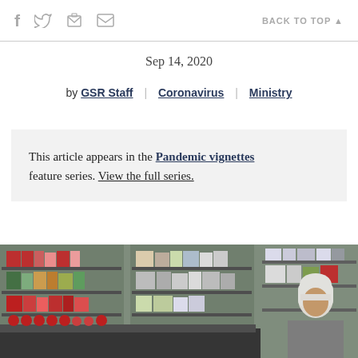f  [twitter]  [print]  [email]    BACK TO TOP ▲
Sep 14, 2020
by GSR Staff | Coronavirus | Ministry
This article appears in the Pandemic vignettes feature series. View the full series.
[Figure (photo): A nun in white habit working at a pharmacy or medical supply room with shelves of medications and supplies in the background]